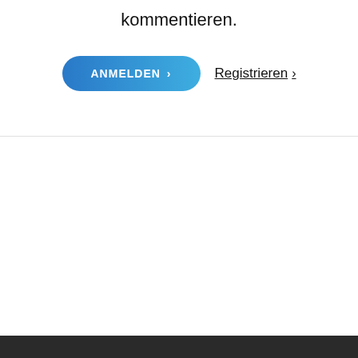kommentieren.
[Figure (screenshot): ANMELDEN button (blue gradient, pill-shaped, white uppercase bold text with chevron) and Registrieren link (underlined text with right chevron arrow)]